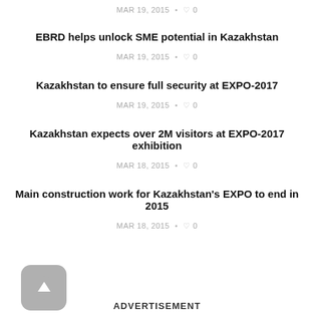MAR 19, 2015 • ♡ 0
EBRD helps unlock SME potential in Kazakhstan
MAR 19, 2015 • ♡ 0
Kazakhstan to ensure full security at EXPO-2017
MAR 19, 2015 • ♡ 0
Kazakhstan expects over 2M visitors at EXPO-2017 exhibition
MAR 18, 2015 • ♡ 0
Main construction work for Kazakhstan's EXPO to end in 2015
MAR 18, 2015 • ♡ 0
[Figure (other): Scroll to top button with upward arrow icon]
ADVERTISEMENT